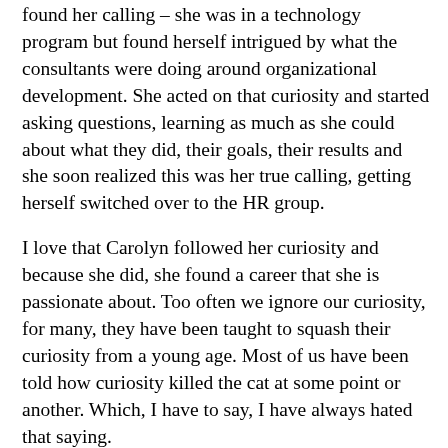found her calling – she was in a technology program but found herself intrigued by what the consultants were doing around organizational development. She acted on that curiosity and started asking questions, learning as much as she could about what they did, their goals, their results and she soon realized this was her true calling, getting herself switched over to the HR group.
I love that Carolyn followed her curiosity and because she did, she found a career that she is passionate about. Too often we ignore our curiosity, for many, they have been taught to squash their curiosity from a young age. Most of us have been told how curiosity killed the cat at some point or another. Which, I have to say, I have always hated that saying.
Curiosity killed the cat is a proverb used to warn of the dangers of unnecessary investigation or expirementation – but the origin of the line is actually – Care Killed the Cat and Care meant worry during those years therefore, Worry Killed The Cat. That's right people, take it in,